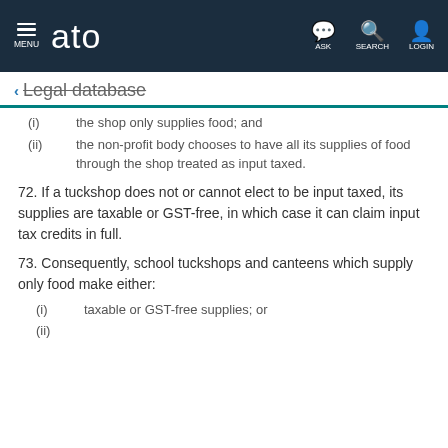MENU | ato | ASK | SEARCH | LOGIN
← Legal database
(i) the shop only supplies food; and
(ii) the non-profit body chooses to have all its supplies of food through the shop treated as input taxed.
72. If a tuckshop does not or cannot elect to be input taxed, its supplies are taxable or GST-free, in which case it can claim input tax credits in full.
73. Consequently, school tuckshops and canteens which supply only food make either:
(i) taxable or GST-free supplies; or
(ii)